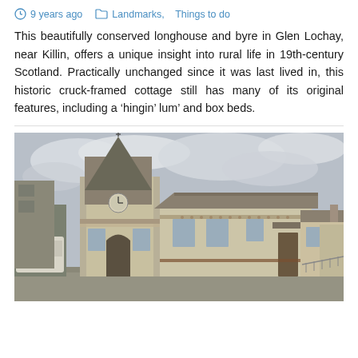9 years ago   Landmarks,  Things to do
This beautifully conserved longhouse and byre in Glen Lochay, near Killin, offers a unique insight into rural life in 19th-century Scotland. Practically unchanged since it was last lived in, this historic cruck-framed cottage still has many of its original features, including a ‘hingin’ lum’ and box beds.
[Figure (photo): Photograph of a stone building with a clock tower and steeple, taken from street level. The building has cream/beige rendered walls, stone quoins, and decorated friezes. There is a clock visible on the tower. Adjacent lower buildings extend to the right. Overcast sky with clouds in background. A caravan/van is visible to the left.]